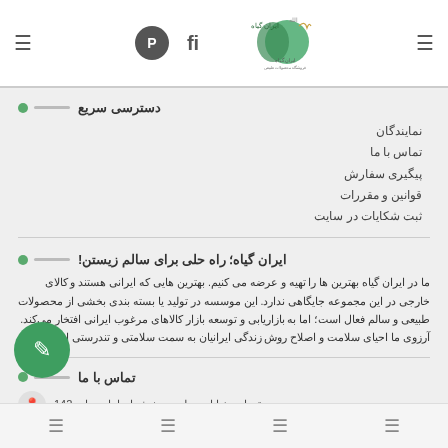ایران گیاه - header with logo, navigation icons
دسترسی سریع
نمایندگان
تماس با ما
پیگیری سفارش
قوانین و مقررات
ثبت شکایات در سایت
ایران گیاه؛ راه حلی برای سالم زیستن!
ما در ایران گیاه بهترین ها را تهیه و عرضه می کنیم. بهترین هایی که ایرانی هستند و کالای خارجی در این مجموعه جایگاهی ندارد. این موسسه در تولید یا بسته بندی بخشی از محصولات طبیعی و سالم فعال است؛ اما به بازاریابی و توسعه بازار کالاهای مرغوب ایرانی افتخار می‌کند. آرزوی ما احیای سلامت و اصلاح روش زندگی ایرانیان به سمت سلامتی و تندرستی است.
تماس با ما
تهران، خیابان مطهری، نبش اورامان، واحد142
02128427274
footer navigation icons